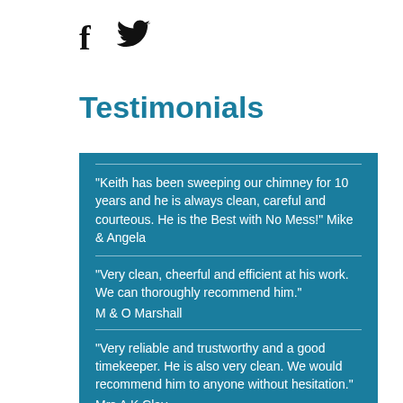[Figure (other): Facebook and Twitter social media icons]
Testimonials
"Keith has been sweeping our chimney for 10 years and he is always clean, careful and courteous. He is the Best with No Mess!" Mike & Angela
"Very clean, cheerful and efficient at his work. We can thoroughly recommend him." M & O Marshall
"Very reliable and trustworthy and a good timekeeper. He is also very clean. We would recommend him to anyone without hesitation." Mrs A K Clay